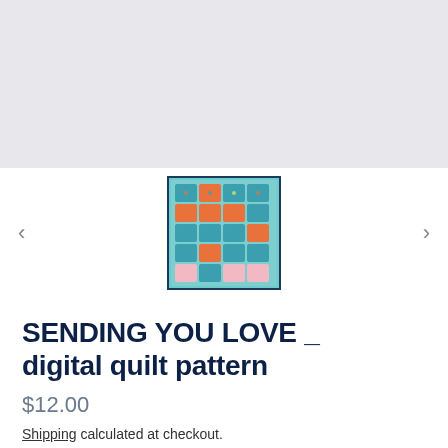[Figure (photo): Light gray rectangular area representing the main product image display area (currently blank/placeholder)]
[Figure (photo): Thumbnail image of a quilt pattern called 'Sending You Love' showing a grid of colorful mailbox blocks in teal, orange, and pink on a light blue background, with a dark blue border]
SENDING YOU LOVE _ digital quilt pattern
$12.00
Shipping calculated at checkout.